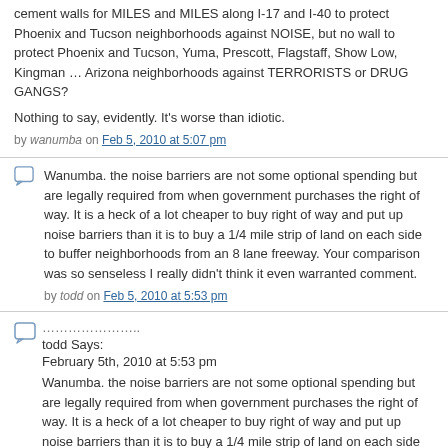cement walls for MILES and MILES along I-17 and I-40 to protect Phoenix and Tucson neighborhoods against NOISE, but no wall to protect Phoenix and Tucson, Yuma, Prescott, Flagstaff, Show Low, Kingman … Arizona neighborhoods against TERRORISTS or DRUG GANGS?
Nothing to say, evidently. It's worse than idiotic.
by wanumba on Feb 5, 2010 at 5:07 pm
Wanumba. the noise barriers are not some optional spending but are legally required from when government purchases the right of way. It is a heck of a lot cheaper to buy right of way and put up noise barriers than it is to buy a 1/4 mile strip of land on each side to buffer neighborhoods from an 8 lane freeway. Your comparison was so senseless I really didn't think it even warranted comment.
by todd on Feb 5, 2010 at 5:53 pm
………………… todd Says: February 5th, 2010 at 5:53 pm Wanumba. the noise barriers are not some optional spending but are legally required from when government purchases the right of way. It is a heck of a lot cheaper to buy right of way and put up noise barriers than it is to buy a 1/4 mile strip of land on each side to buffer neighborhoods from an 8 lane freeway. Your comparison was so senseless I really didn't think it even warranted comment.